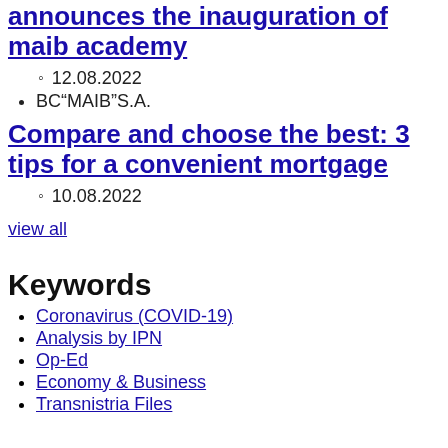announces the inauguration of maib academy
12.08.2022
BC"MAIB"S.A.
Compare and choose the best: 3 tips for a convenient mortgage
10.08.2022
view all
Keywords
Coronavirus (COVID-19)
Analysis by IPN
Op-Ed
Economy & Business
Transnistria Files